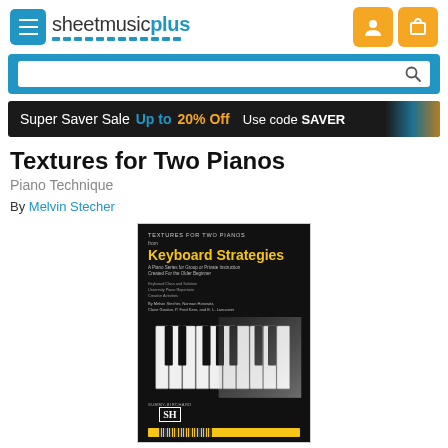[Figure (logo): Sheet Music Plus logo with blue menu button and dotted underline]
[Figure (screenshot): Blue search bar with magnifying glass icon]
[Figure (infographic): Super Saver Sale banner: Up to 20% Off Use code SAVER, dark background with piano keys on right]
Textures for Two Pianos
Piano Technique
By Melvin Stecher
[Figure (photo): Book cover for Textures for Two Pianos from Keyboard Strategies series, dark cover with piano keys image and SH publisher logo]